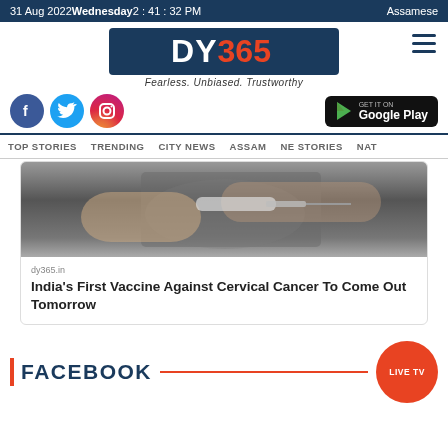31 Aug 2022 Wednesday 2 : 41 : 32 PM | Assamese
[Figure (logo): DY365 logo with tagline Fearless. Unbiased. Trustworthy]
[Figure (infographic): Social media icons (Facebook, Twitter, Instagram) and Google Play button]
TOP STORIES  TRENDING  CITY NEWS  ASSAM  NE STORIES  NAT
[Figure (photo): Close-up photo of a syringe being administered, related to vaccine news]
dy365.in
India's First Vaccine Against Cervical Cancer To Come Out Tomorrow
FACEBOOK
LIVE TV